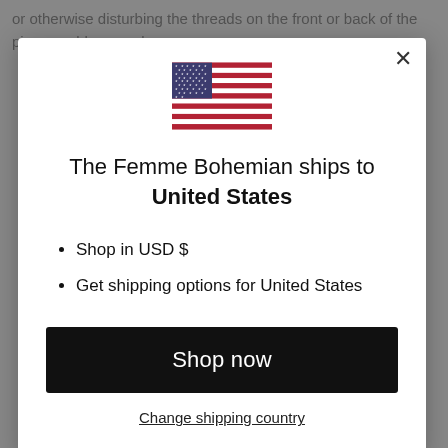or otherwise disturbing the threads on the front or back of the piece could cause damage.
[Figure (illustration): United States flag icon]
The Femme Bohemian ships to United States
Shop in USD $
Get shipping options for United States
Shop now
Change shipping country
ADD TO CART